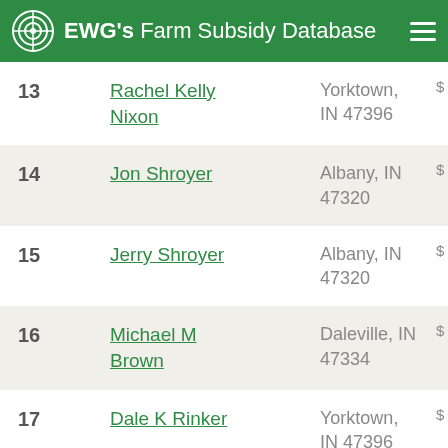EWG's Farm Subsidy Database
| Rank | Name | Location | Amount |
| --- | --- | --- | --- |
| 13 | Rachel Kelly Nixon | Yorktown, IN 47396 | $... |
| 14 | Jon Shroyer | Albany, IN 47320 | $... |
| 15 | Jerry Shroyer | Albany, IN 47320 | $... |
| 16 | Michael M Brown | Daleville, IN 47334 | $... |
| 17 | Dale K Rinker | Yorktown, IN 47396 | $... |
| 18 | Craig D Gillis | Dunkirk, IN 47336 | $... |